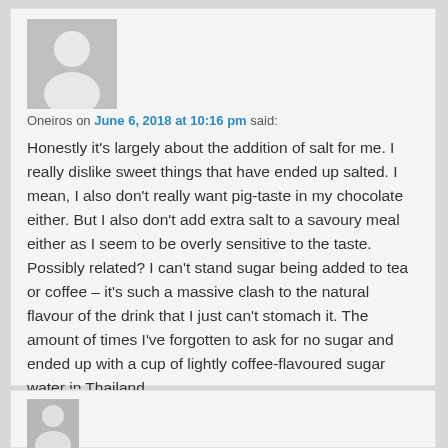[Figure (illustration): Default grey avatar placeholder image (person silhouette on grey background)]
Oneiros on June 6, 2018 at 10:16 pm said:
Honestly it's largely about the addition of salt for me. I really dislike sweet things that have ended up salted. I mean, I also don't really want pig-taste in my chocolate either. But I also don't add extra salt to a savoury meal either as I seem to be overly sensitive to the taste. Possibly related? I can't stand sugar being added to tea or coffee – it's such a massive clash to the natural flavour of the drink that I just can't stomach it. The amount of times I've forgotten to ask for no sugar and ended up with a cup of lightly coffee-flavoured sugar water in Thailand…
[Figure (illustration): Partially visible default grey avatar placeholder image at bottom of page]